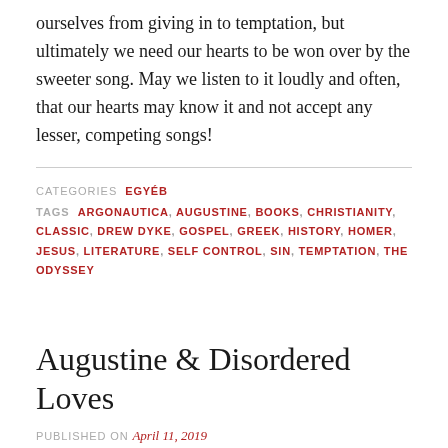ourselves from giving in to temptation, but ultimately we need our hearts to be won over by the sweeter song. May we listen to it loudly and often, that our hearts may know it and not accept any lesser, competing songs!
CATEGORIES EGYÉB
TAGS ARGONAUTICA, AUGUSTINE, BOOKS, CHRISTIANITY, CLASSIC, DREW DYKE, GOSPEL, GREEK, HISTORY, HOMER, JESUS, LITERATURE, SELF CONTROL, SIN, TEMPTATION, THE ODYSSEY
Augustine & Disordered Loves
PUBLISHED ON April 11, 2019
4 Comments